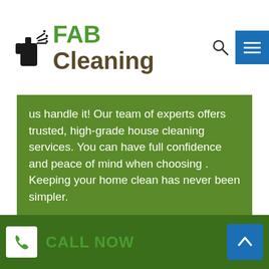[Figure (logo): FAB Cleaning company logo with cleaning spray bottle icon, green FAB text and brown Cleaning text]
us handle it! Our team of experts offers trusted, high-grade house cleaning services. You can have full confidence and peace of mind when choosing . Keeping your home clean has never been simpler.
[Figure (illustration): White vacuum cleaner icon on brown background]
COMMERCIAL CLEANING
In order to help keep your office looking its best, House